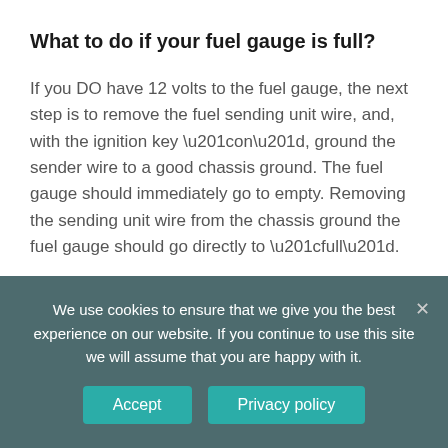What to do if your fuel gauge is full?
If you DO have 12 volts to the fuel gauge, the next step is to remove the fuel sending unit wire, and, with the ignition key “on”, ground the sender wire to a good chassis ground. The fuel gauge should immediately go to empty. Removing the sending unit wire from the chassis ground the fuel gauge should go directly to “full”.
Yes, and that connector is grounded to a stud on the inside upper far right of the firewall
We use cookies to ensure that we give you the best experience on our website. If you continue to use this site we will assume that you are happy with it.